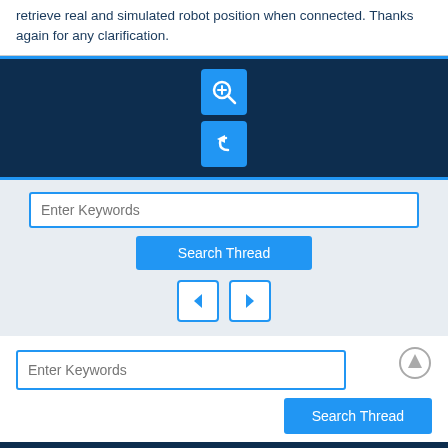retrieve real and simulated robot position when connected. Thanks again for any clarification.
[Figure (screenshot): Dark navy action bar with two blue icon buttons: a zoom/magnify icon and a reply/undo arrow icon]
[Figure (screenshot): Light gray search section with keyword input field, Search Thread button, and back/forward navigation buttons]
[Figure (screenshot): White section with up-arrow circle button, Enter Keywords input, and Search Thread button on the right]
Users browsing this thread: